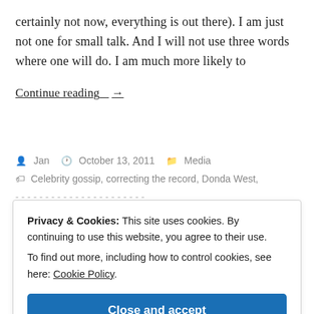certainly not now, everything is out there). I am just not one for small talk. And I will not use three words where one will do. I am much more likely to
Continue reading_ →
Jan  October 13, 2011  Media
Celebrity gossip, correcting the record, Donda West,
Privacy & Cookies: This site uses cookies. By continuing to use this website, you agree to their use. To find out more, including how to control cookies, see here: Cookie Policy
Close and accept